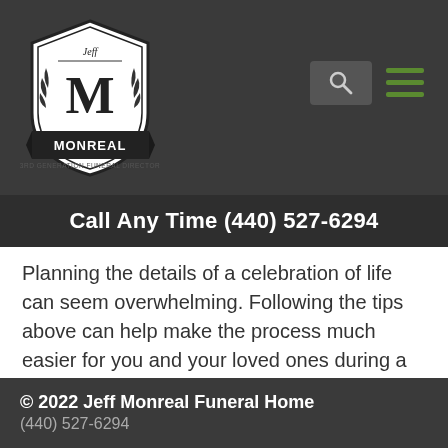[Figure (logo): Jeff Monreal Funeral Home logo — shield shape with M in center, banner reading MONREAL, text 3rd Generation Funeral Director]
Call Any Time (440) 527-6294
Planning the details of a celebration of life can seem overwhelming. Following the tips above can help make the process much easier for you and your loved ones during a time of mourning.
Click here to contact Jeff today.
© 2022 Jeff Monreal Funeral Home